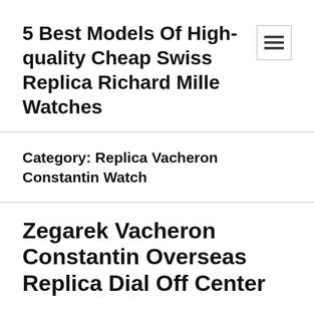5 Best Models Of High-quality Cheap Swiss Replica Richard Mille Watches
Category: Replica Vacheron Constantin Watch
Zegarek Vacheron Constantin Overseas Replica Dial Off Center
It will be cheap strong in 2014 and this year.